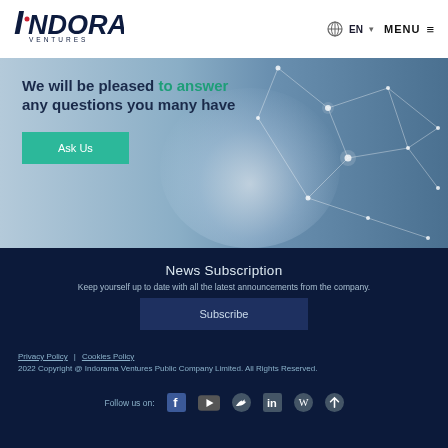[Figure (logo): Indorama Ventures logo in dark blue and red]
EN   MENU ☰
[Figure (photo): Hero banner with hand touching digital network, light blue tones with network mesh pattern on right]
We will be pleased to answer any questions you many have
Ask Us
News Subscription
Keep yourself up to date with all the latest announcements from the company.
Subscribe
Privacy Policy  |  Cookies Policy
2022 Copyright @ Indorama Ventures Public Company Limited. All Rights Reserved.
Follow us on: